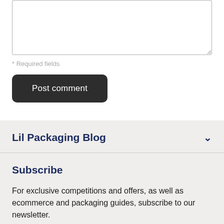* Required fields
Post comment
Lil Packaging Blog
Subscribe
For exclusive competitions and offers, as well as ecommerce and packaging guides, subscribe to our newsletter.